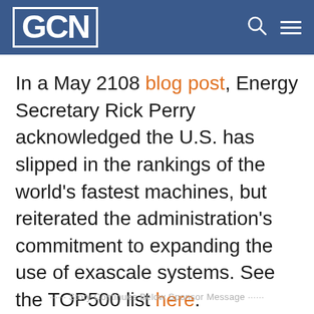GCN
In a May 2108 blog post, Energy Secretary Rick Perry acknowledged the U.S. has slipped in the rankings of the world's fastest machines, but reiterated the administration's commitment to expanding the use of exascale systems. See the TOP500 list here.
····· Story Continues Below Sponsor Message ·····